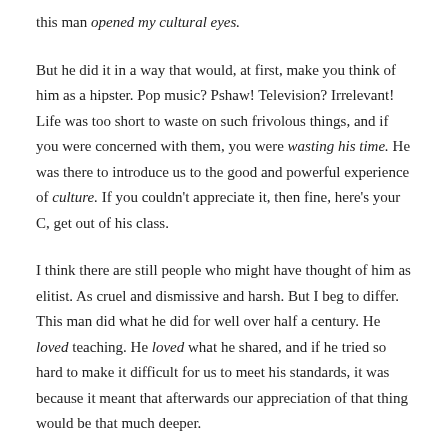this man opened my cultural eyes.
But he did it in a way that would, at first, make you think of him as a hipster. Pop music? Pshaw! Television? Irrelevant! Life was too short to waste on such frivolous things, and if you were concerned with them, you were wasting his time. He was there to introduce us to the good and powerful experience of culture. If you couldn't appreciate it, then fine, here's your C, get out of his class.
I think there are still people who might have thought of him as elitist. As cruel and dismissive and harsh. But I beg to differ. This man did what he did for well over half a century. He loved teaching. He loved what he shared, and if he tried so hard to make it difficult for us to meet his standards, it was because it meant that afterwards our appreciation of that thing would be that much deeper.